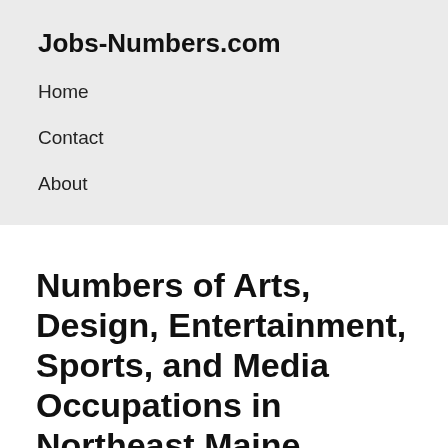Jobs-Numbers.com
Home
Contact
About
Numbers of Arts, Design, Entertainment, Sports, and Media Occupations in Northeast Maine